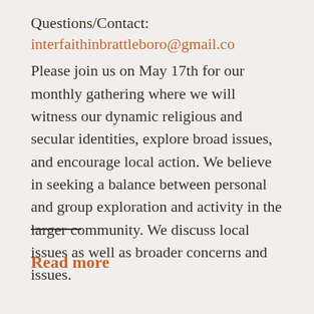Questions/Contact: interfaithinbrattleboro@gmail.co…
Please join us on May 17th for our monthly gathering where we will witness our dynamic religious and secular identities, explore broad issues, and encourage local action. We believe in seeking a balance between personal and group exploration and activity in the larger community. We discuss local issues as well as broader concerns and issues.
Read more